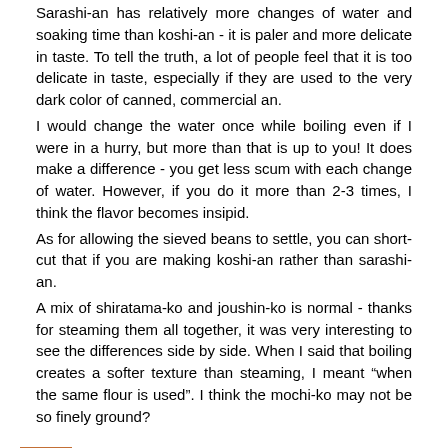Sarashi-an has relatively more changes of water and soaking time than koshi-an - it is paler and more delicate in taste. To tell the truth, a lot of people feel that it is too delicate in taste, especially if they are used to the very dark color of canned, commercial an.
I would change the water once while boiling even if I were in a hurry, but more than that is up to you! It does make a difference - you get less scum with each change of water. However, if you do it more than 2-3 times, I think the flavor becomes insipid.
As for allowing the sieved beans to settle, you can short-cut that if you are making koshi-an rather than sarashi-an.
A mix of shiratama-ko and joushin-ko is normal - thanks for steaming them all together, it was very interesting to see the differences side by side. When I said that boiling creates a softer texture than steaming, I meant "when the same flour is used". I think the mochi-ko may not be so finely ground?
I like to use a kombu-dashi in the sauce for mitarashi dango - motly nostalgia for my time in Kansai, I think.
Hiroyuki